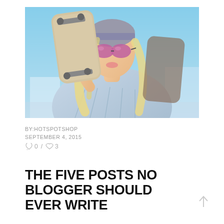[Figure (photo): Young blonde woman with pink sunglasses and knit beanie holding a skateboard over her shoulder, wearing a light blue plaid shirt, posed against a light blue sky background.]
BY:HOTSPOTSHOP
SEPTEMBER 4, 2015
0 / 3
THE FIVE POSTS NO BLOGGER SHOULD EVER WRITE